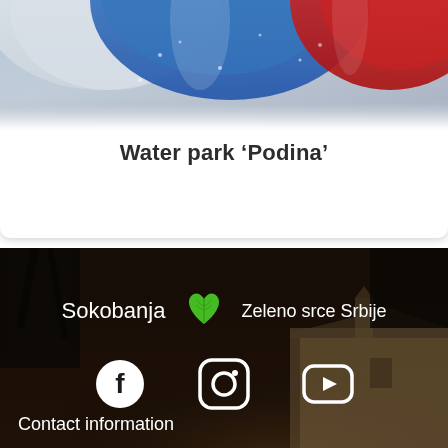[Figure (photo): Top portion of a water park photo showing colorful water slides in blue, white and red colors with water droplets]
Water park 'Podina'
[Figure (photo): Dark night scene footer background showing old stone building and trees with Sokobanja logo, green leaf heart icon, social media icons (Facebook, Instagram, YouTube), and Contact information text]
Sokobanja  Zeleno srce Srbije
Contact information